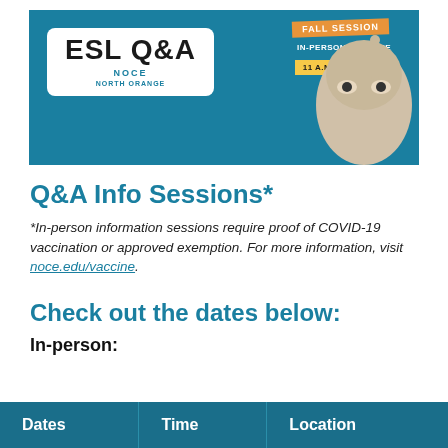[Figure (illustration): ESL Q&A promotional banner with teal background, white rounded box with 'ESL Q&A' text, NOCE logo, colored tags reading 'FALL SESSION', 'IN-PERSON & ONLINE', '11 A.M. AND 6 P.M.', and a black-and-white photo of a person pointing upward.]
Q&A Info Sessions*
*In-person information sessions require proof of COVID-19 vaccination or approved exemption. For more information, visit noce.edu/vaccine.
Check out the dates below:
In-person:
| Dates | Time | Location |
| --- | --- | --- |